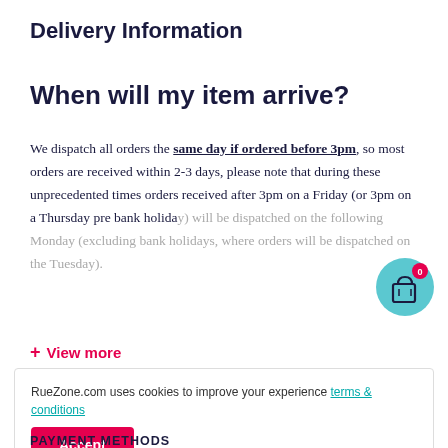Delivery Information
When will my item arrive?
We dispatch all orders the same day if ordered before 3pm, so most orders are received within 2-3 days, please note that during these unprecedented times orders received after 3pm on a Friday (or 3pm on a Thursday pre bank holiday) will be dispatched on the following Monday (excluding bank holidays, where orders will be dispatched on the Tuesday).
+ View more
RueZone.com uses cookies to improve your experience terms & conditions
Accept
PAYMENT METHODS